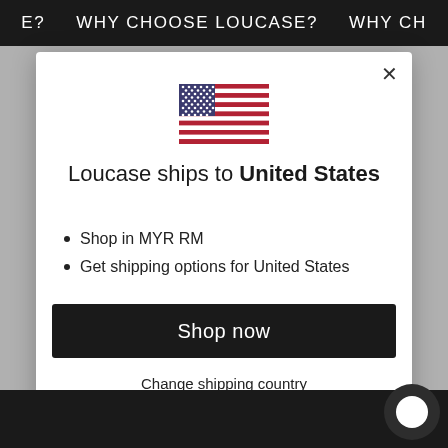E?   WHY CHOOSE LOUCASE?   WHY CH
[Figure (illustration): US flag emoji/icon displayed centered in modal dialog]
Loucase ships to United States
Shop in MYR RM
Get shipping options for United States
Shop now
Change shipping country